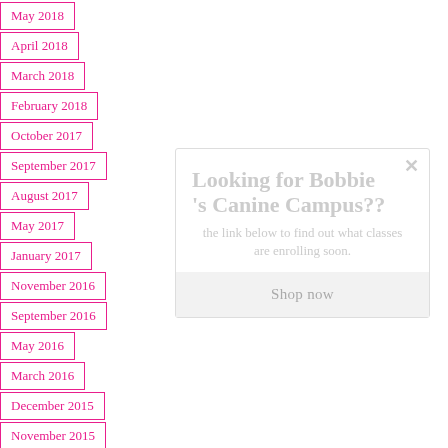May 2018
April 2018
March 2018
February 2018
October 2017
September 2017
August 2017
May 2017
January 2017
November 2016
September 2016
May 2016
March 2016
December 2015
November 2015
[Figure (screenshot): Popup overlay with title 'Looking for Bobbie's Canine Campus??' and body text 'the link below to find out what classes are enrolling soon.' with a 'Shop now' button area.]